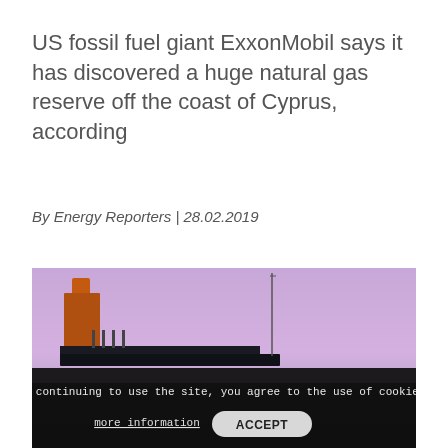US fossil fuel giant ExxonMobil says it has discovered a huge natural gas reserve off the coast of Cyprus, according
By Energy Reporters | 28.02.2019
[Figure (photo): Industrial offshore platform or ship structure silhouetted against a purple-pink twilight sky, with a tall antenna mast visible in the background. A dark overlay cookie-consent banner is shown at the bottom of the image.]